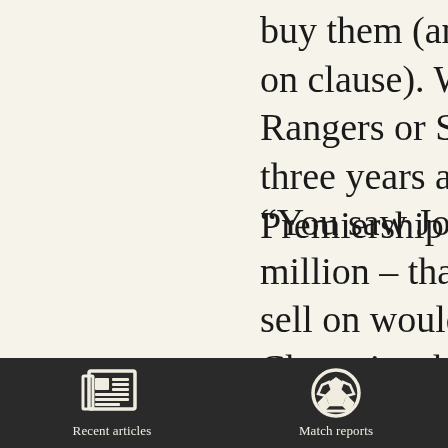buy them (and City w on clause). We'd rather Rangers or Southampt three years and get to 2 Premiership club come
“You saw Jordan Hend million – that’s ultima sell on would enable u Championship for thre on. Or it would guara League One, because w
[Figure (infographic): Dark footer bar with two navigation icons: a newspaper icon labeled 'Recent articles' and a soccer ball icon labeled 'Match reports']